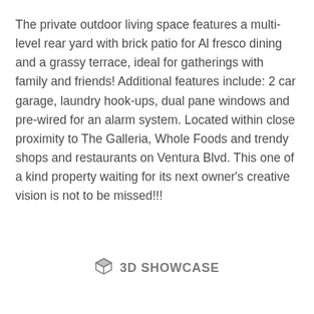The private outdoor living space features a multi-level rear yard with brick patio for Al fresco dining and a grassy terrace, ideal for gatherings with family and friends! Additional features include: 2 car garage, laundry hook-ups, dual pane windows and pre-wired for an alarm system. Located within close proximity to The Galleria, Whole Foods and trendy shops and restaurants on Ventura Blvd. This one of a kind property waiting for its next owner's creative vision is not to be missed!!!
[Figure (logo): 3D Showcase button with a cube icon and text '3D SHOWCASE']